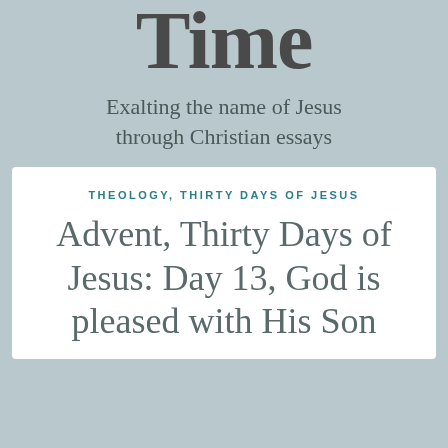Time
Exalting the name of Jesus through Christian essays
THEOLOGY, THIRTY DAYS OF JESUS
Advent, Thirty Days of Jesus: Day 13, God is pleased with His Son